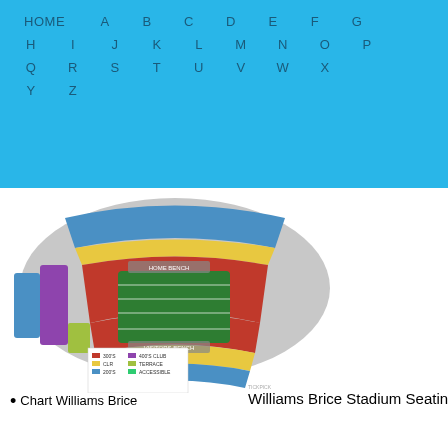HOME A B C D E F G H I J K L M N O P Q R S T U V W X Y Z
[Figure (other): Williams Brice Stadium seating chart showing a horseshoe-shaped stadium layout with color-coded sections (red, yellow, blue, purple, green) and a football field in the center with HOME BENCH and VISITORS BENCH labels. A legend at the bottom left shows section color categories.]
Chart Williams Brice
Williams Brice Stadium Seating